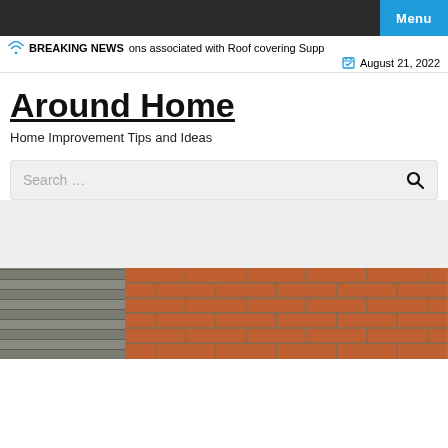Menu
BREAKING NEWS  ons associated with Roof covering Supp  August 21, 2022
Around Home
Home Improvement Tips and Ideas
Search …
[Figure (photo): Brick and stone construction corner detail, showing red brick and grey stone masonry]